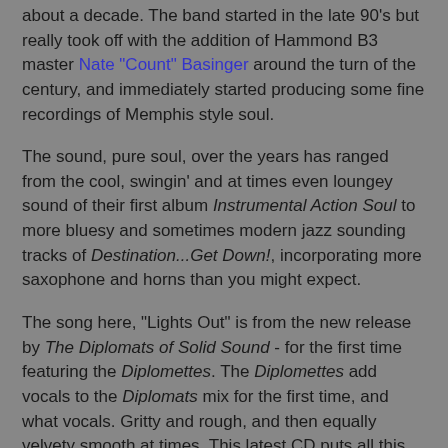about a decade. The band started in the late 90's but really took off with the addition of Hammond B3 master Nate "Count" Basinger around the turn of the century, and immediately started producing some fine recordings of Memphis style soul.
The sound, pure soul, over the years has ranged from the cool, swingin' and at times even loungey sound of their first album Instrumental Action Soul to more bluesy and sometimes modern jazz sounding tracks of Destination...Get Down!, incorporating more saxophone and horns than you might expect.
The song here, "Lights Out" is from the new release by The Diplomats of Solid Sound - for the first time featuring the Diplomettes. The Diplomettes add vocals to the Diplomats mix for the first time, and what vocals. Gritty and rough, and then equally velvety smooth at times. This latest CD puts all this together simply sizzles with soul and wicked good R&B. Nate Basinger's Hammond playing is inspired throughout. If you're jonesing for a soul fix then this one is highly recommended.